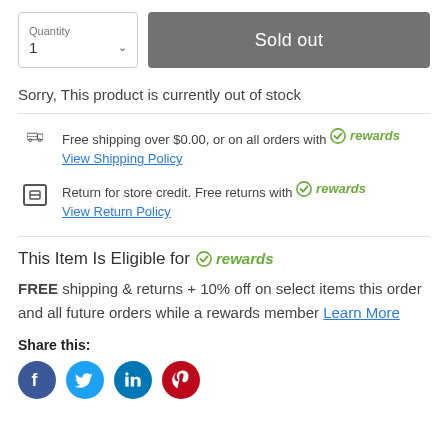[Figure (screenshot): Quantity selector box showing '1' with dropdown arrow, and a grey 'Sold out' button]
Sorry, This product is currently out of stock
Free shipping over $0.00, or on all orders with rewards
View Shipping Policy
Return for store credit. Free returns with rewards
View Return Policy
This Item Is Eligible for rewards
FREE shipping & returns + 10% off on select items this order and all future orders while a rewards member Learn More
Share this:
[Figure (illustration): Social media sharing icons: Facebook (blue), Twitter (light blue), LinkedIn (blue), Pinterest (red)]